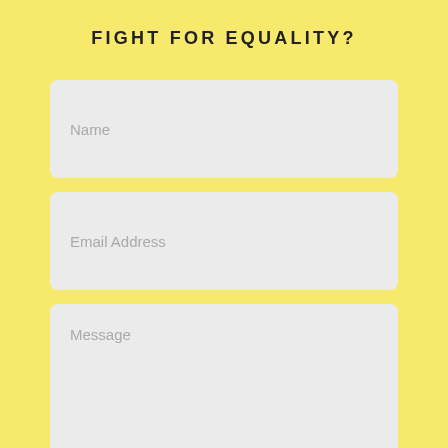FIGHT FOR EQUALITY?
Name
Email Address
Message
SUBMIT